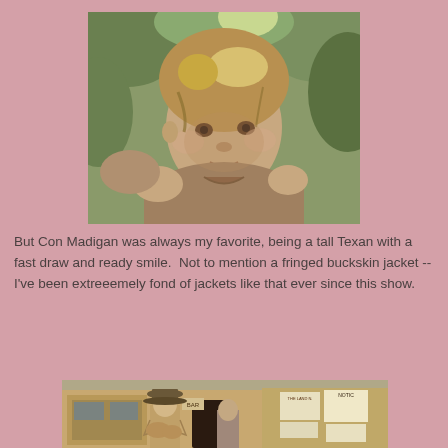[Figure (photo): Close-up of a young boy with blonde-brown hair looking at the camera, surrounded by green foliage. He is wearing a tan/brown jacket.]
But Con Madigan was always my favorite, being a tall Texan with a fast draw and ready smile.  Not to mention a fringed buckskin jacket -- I've been extreeemely fond of jackets like that ever since this show.
[Figure (photo): A scene from an old Western show showing a man in a cowboy hat standing in front of a building with posted notices on the wall.]